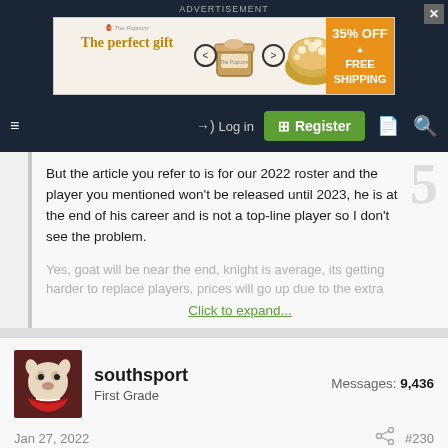ADVERTISEMENT
[Figure (other): Advertisement banner for The Popcorn Factory: 'The perfect gift' with food product imagery, navigation arrows, and '35% OFF + FREE SHIPPING' offer in orange box. Close button top right.]
Log in
Register
But the article you refer to is for our 2022 roster and the player you mentioned won't be released until 2023, he is at the end of his career and is not a top-line player so I don't see the problem.
Yes, goat will be near the end, knight is average, its getting harder to replace players, prices will go up due to the extra
Click to expand...
southsport
First Grade
Messages: 9,436
Jan 27, 2022
#230